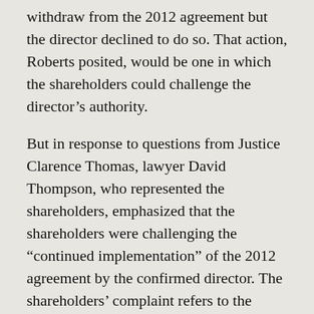withdraw from the 2012 agreement but the director declined to do so. That action, Roberts posited, would be one in which the shareholders could challenge the director's authority.
But in response to questions from Justice Clarence Thomas, lawyer David Thompson, who represented the shareholders, emphasized that the shareholders were challenging the “continued implementation” of the 2012 agreement by the confirmed director. The shareholders’ complaint refers to the overpayments being made by Fannie and Freddie to the Treasury Department, “and each one of those overpayments was an implementation of” the agreement, Thompson explained.
When they turned to the case of confirmed directors, the justices had different views on whether the